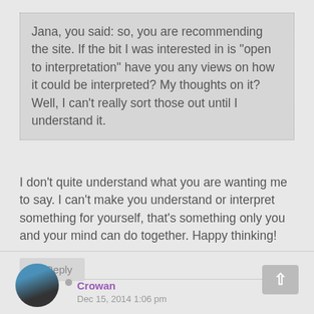Jana, you said: so, you are recommending the site. If the bit I was interested in is "open to interpretation" have you any views on how it could be interpreted? My thoughts on it? Well, I can't really sort those out until I understand it.
I don't quite understand what you are wanting me to say. I can't make you understand or interpret something for yourself, that's something only you and your mind can do together. Happy thinking!
Reply
Crowan
Dec 15, 2014 1:06 pm